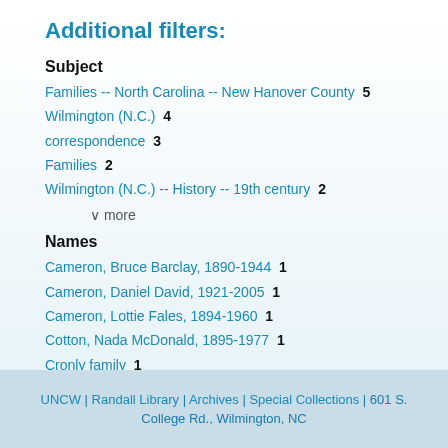Additional filters:
Subject
Families -- North Carolina -- New Hanover County  5
Wilmington (N.C.)  4
correspondence  3
Families  2
Wilmington (N.C.) -- History -- 19th century  2
∨ more
Names
Cameron, Bruce Barclay, 1890-1944  1
Cameron, Daniel David, 1921-2005  1
Cameron, Lottie Fales, 1894-1960  1
Cotton, Nada McDonald, 1895-1977  1
Cronly family  1
∨ more
UNCW | Randall Library | Archives | Special Collections | 601 S. College Rd., Wilmington, NC